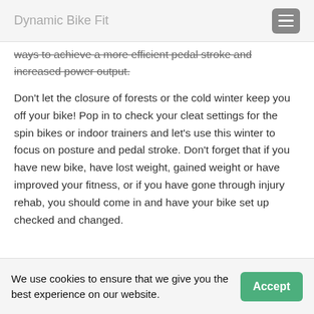Dynamic Bike Fit
ways to achieve a more efficient pedal stroke and increased power output.
Don't let the closure of forests or the cold winter keep you off your bike! Pop in to check your cleat settings for the spin bikes or indoor trainers and let's use this winter to focus on posture and pedal stroke. Don't forget that if you have new bike, have lost weight, gained weight or have improved your fitness, or if you have gone through injury rehab, you should come in and have your bike set up checked and changed.
We use cookies to ensure that we give you the best experience on our website.